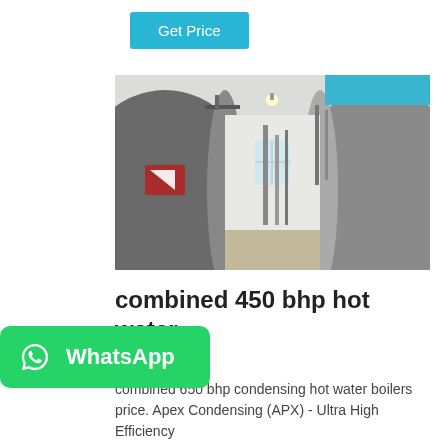Get Price
[Figure (photo): Industrial boiler room with two large cylindrical hot water boilers on either side of a corridor, piping and fittings visible, white building interior with windows in background. Chinese branding visible on left boiler.]
combined 450 bhp hot water boiler
combined 650 bhp condensing hot water boilers price. Apex Condensing (APX) - Ultra High Efficiency